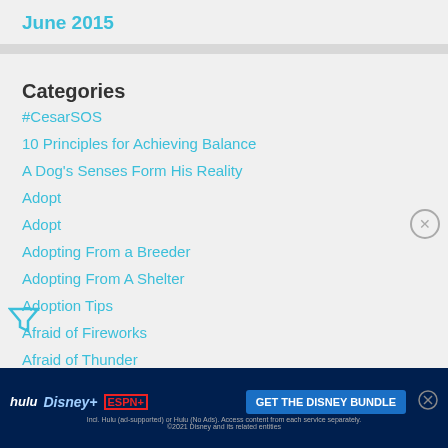June 2015
Categories
#CesarSOS
10 Principles for Achieving Balance
A Dog's Senses Form His Reality
Adopt
Adopt
Adopting From a Breeder
Adopting From A Shelter
Adoption Tips
Afraid of Fireworks
Afraid of Thunder
Aggr...
[Figure (screenshot): Advertisement banner: GET THE DISNEY BUNDLE with Hulu, Disney+, ESPN+ logos]